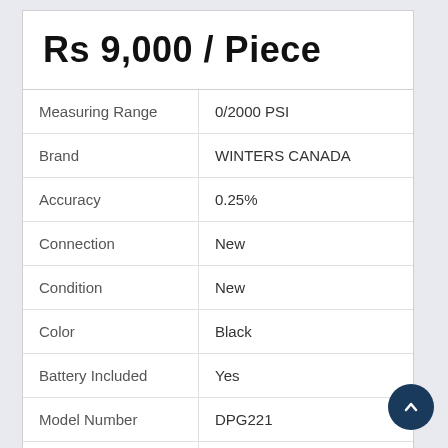Rs 9,000 / Piece
| Property | Value |
| --- | --- |
| Measuring Range | 0/2000 PSI |
| Brand | WINTERS CANADA |
| Accuracy | 0.25% |
| Connection | New |
| Condition | New |
| Color | Black |
| Battery Included | Yes |
| Model Number | DPG221 |
| Size | 63 MM |
| Battery Life | good |